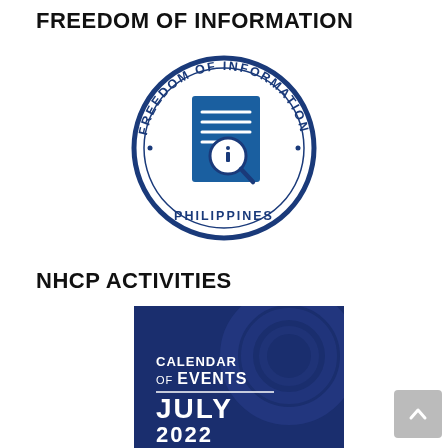FREEDOM OF INFORMATION
[Figure (logo): Freedom of Information Philippines circular seal/logo in dark blue, featuring a document with a magnifying glass containing an 'i' symbol, with text 'FREEDOM OF INFORMATION' arcing around the top and 'PHILIPPINES' at the bottom]
NHCP ACTIVITIES
[Figure (photo): Dark blue promotional image with text 'CALENDAR OF EVENTS' and 'JULY 2022' in white/bold fonts on a navy blue background with subtle circular design elements]